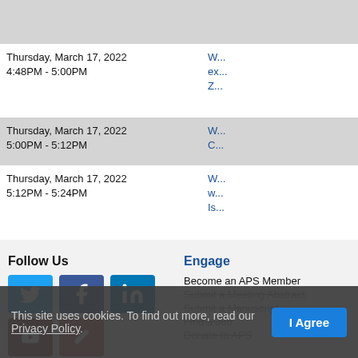| Date/Time | Session |
| --- | --- |
| Thursday, March 17, 2022
4:48PM - 5:00PM | W...
ex...
Z... |
| Thursday, March 17, 2022
5:00PM - 5:12PM | W...
C... |
| Thursday, March 17, 2022
5:12PM - 5:24PM | W...
w...
Is... |
Follow Us
Engage
Become an APS Member
Submit a Meeting Abstract
Submit a Manuscript
Find a Job
Donate to APS
This site uses cookies. To find out more, read our Privacy Policy.